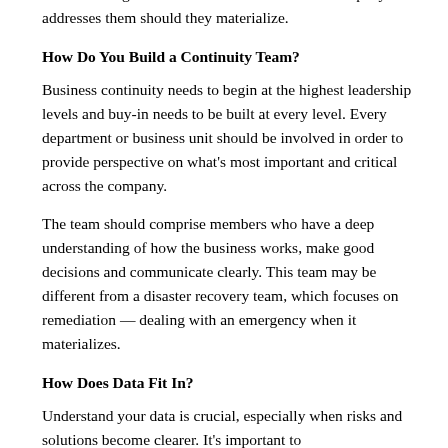understanding of both the threats and how the company addresses them should they materialize.
How Do You Build a Continuity Team?
Business continuity needs to begin at the highest leadership levels and buy-in needs to be built at every level. Every department or business unit should be involved in order to provide perspective on what's most important and critical across the company.
The team should comprise members who have a deep understanding of how the business works, make good decisions and communicate clearly. This team may be different from a disaster recovery team, which focuses on remediation — dealing with an emergency when it materializes.
How Does Data Fit In?
Understand your data is crucial, especially when risks and solutions become clearer. It's important to